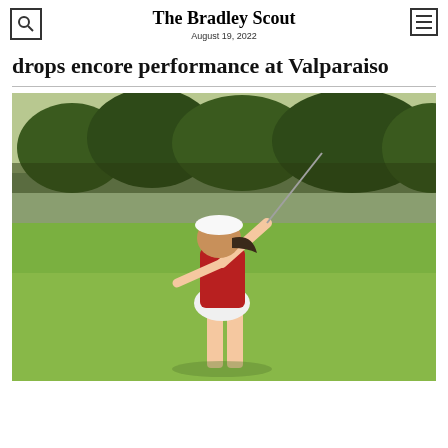The Bradley Scout
August 19, 2022
drops encore performance at Valparaiso
[Figure (photo): A female golfer in a red top and white skirt mid-swing on a golf course with green grass and trees in the background.]